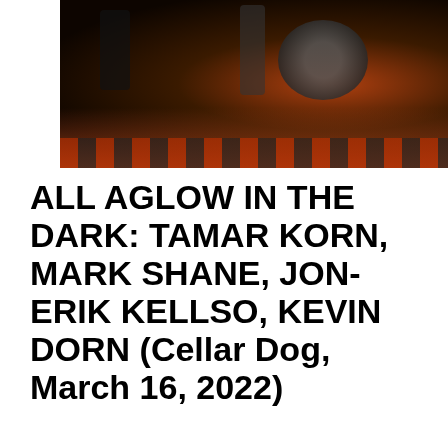[Figure (photo): Dark concert/venue photo showing musicians on stage with drum kit visible in background, red and black checkered floor, low lighting with warm reddish tones]
ALL AGLOW IN THE DARK: TAMAR KORN, MARK SHANE, JON-ERIK KELLSO, KEVIN DORN (Cellar Dog, March 16, 2022)
[Figure (photo): Dark interior venue photo showing performers on a small stage with purple/pink neon lighting strip, a sign visible in background, several musicians and audience members visible]